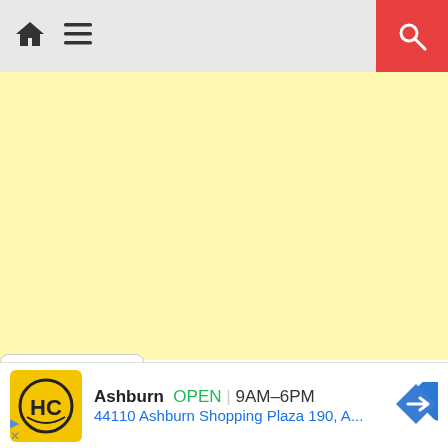[Figure (screenshot): Mobile app navigation bar with home icon, hamburger menu icon, and red search button on the right]
[Figure (map): Yellow map area placeholder background]
[Figure (screenshot): Drawer handle with chevron down arrow]
[Figure (screenshot): Ad bar showing HC (Honest-1 Auto Care) logo in yellow, business name Ashburn, OPEN status, hours 9AM-6PM, address 44110 Ashburn Shopping Plaza 190, A..., and navigation arrow icon. Small ad indicators in bottom left.]